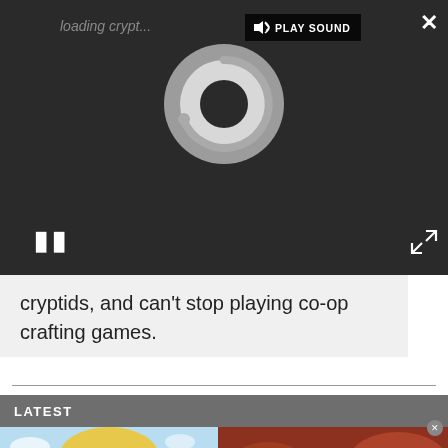[Figure (screenshot): Video player overlay on dark background with a loading spinner (circular grey spinner), pause button (double vertical bars), PLAY SOUND button in top bar, close X button top right, and expand arrows bottom right]
cryptids, and can't stop playing co-op crafting games.
LATEST
[Figure (photo): Left thumbnail: illustrated blonde woman with green eyes on light blue background]
[Figure (photo): Right thumbnail: game screenshot with armored characters on reddish battlefield background]